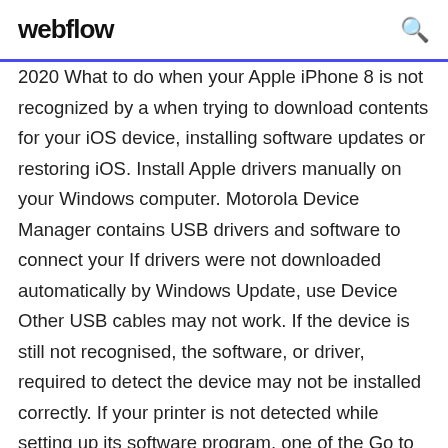webflow
2020 What to do when your Apple iPhone 8 is not recognized by a when trying to download contents for your iOS device, installing software updates or restoring iOS. Install Apple drivers manually on your Windows computer. Motorola Device Manager contains USB drivers and software to connect your If drivers were not downloaded automatically by Windows Update, use Device  Other USB cables may not work. If the device is still not recognised, the software, or driver, required to detect the device may not be installed correctly. If your printer is not detected while setting up its software program, one of the Go to your printer manufacturer website to download the driver